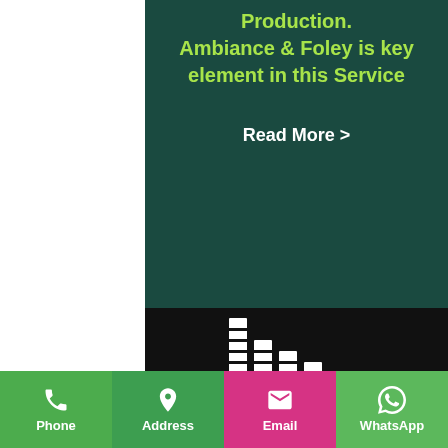Production. Ambiance & Foley is key element in this Service
Read More >
[Figure (logo): Audio equalizer bars logo icon for Art of Mixing, white bars on black background]
ART OF MIXING
For final polishing and smooth
Phone | Address | Email | WhatsApp